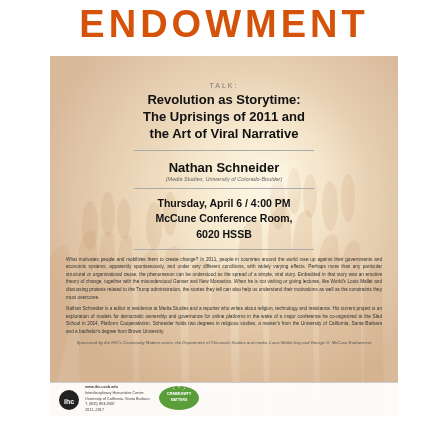ENDOWMENT
[Figure (infographic): Event poster for a talk titled 'Revolution as Storytime: The Uprisings of 2011 and the Art of Viral Narrative' by Nathan Schneider, with faded background photo of raised hands. Includes event details, speaker bio, and sponsor logos.]
TALK:
Revolution as Storytime: The Uprisings of 2011 and the Art of Viral Narrative
Nathan Schneider
(Media Studies, University of Colorado-Boulder)
Thursday, April 6 / 4:00 PM
McCune Conference Room,
6020 HSSB
What motivates people and mobilizes them to create change? In 2011, people in countries around the world rose up against their governments and economic systems, apparently spontaneously, and under very different conditions, with widely varying effects. Perhaps more than any particular structural or organizational cause, the phenomenon can be understood as the spread of a simple, viral story. Embedded in that story was an emotive theory of change, together with the misunderstood Ganser and New Monastics. When he is not visiting or giving lectures, like World's Louis Mallet and discussing protests related to the Trump administration, the stories they tell can also help us understand their motivations as well as the constraints they must overcome.
Nathan Schneider is a editor in residence at Media Studies and a reporter who writes about religion, technology and resistance. His current project is an exploration of models for democratic ownership and governance for online platforms in the wake of a major conference he co-organized at the Sled School in 2014, Platform Cooperativism. Schneider holds two degrees in religious studies, a master's from the University of California, Santa Barbara and a bachelor's degree from Brown University.
Sponsored by the IHC's Community Matters series, the Department of Chicana/o Studies and media, Louis Mallet levy and George D. McCune Endowment
www.ihc.ucsb.edu Interdisciplinary Humanities Center University of California, Santa Barbara T. (805) 893-3907 2011-2017